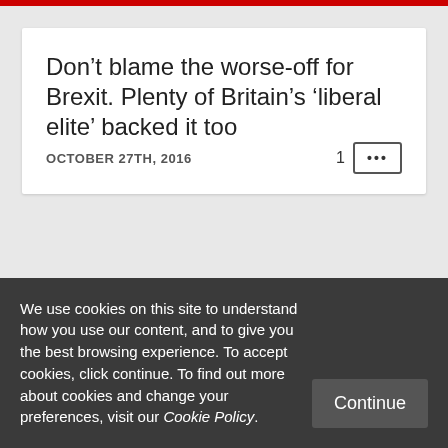Don’t blame the worse-off for Brexit. Plenty of Britain’s ‘liberal elite’ backed it too
OCTOBER 27TH, 2016
We use cookies on this site to understand how you use our content, and to give you the best browsing experience. To accept cookies, click continue. To find out more about cookies and change your preferences, visit our Cookie Policy.